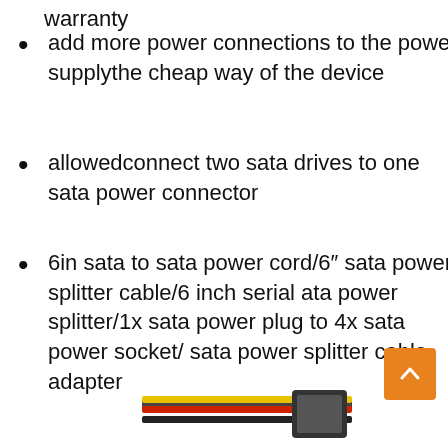warranty
add more power connections to the power supplythe cheap way of the device
allowedconnect two sata drives to one sata power connector
6in sata to sata power cord/6″ sata power splitter cable/6 inch serial ata power splitter/1x sata power plug to 4x sata power socket/ sata power splitter cable adapter
[Figure (photo): Partial image of a SATA power splitter cable showing colored wires (black, red, yellow) at the bottom of the page]